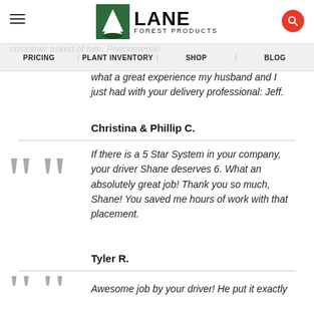[Figure (logo): Lane Forest Products logo with green tree icon and company name]
PRICING | PLANT INVENTORY | SHOP | BLOG
the driveway and still allow us to access our garage and access us face the entire time, and delivered whatever the customer asked of him. Phenomenal!
what a great experience my husband and I just had with your delivery professional: Jeff.
Christina & Phillip C.
If there is a 5 Star System in your company, your driver Shane deserves 6. What an absolutely great job! Thank you so much, Shane! You saved me hours of work with that placement.
Tyler R.
Awesome job by your driver! He put it exactly